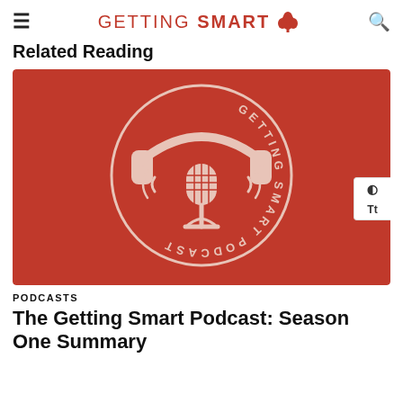≡  GETTING SMART 🌳  🔍
Related Reading
[Figure (logo): Getting Smart Podcast logo: red background with circular badge featuring headphones and microphone graphic, text reading GETTING SMART PODCAST around the circle]
PODCASTS
The Getting Smart Podcast: Season One Summary